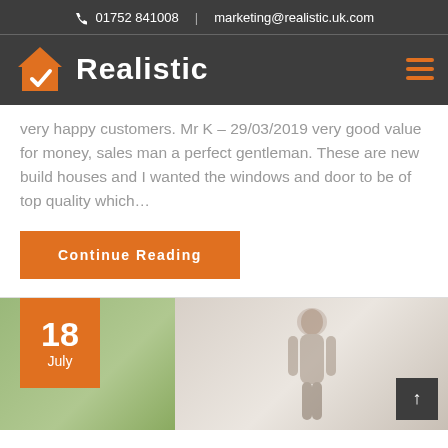📞 01752 841008  |  marketing@realistic.uk.com
[Figure (logo): Realistic company logo — orange house with checkmark and white bold text 'Realistic']
very happy customers. Mr K – 29/03/2019 very good value for money, sales man a perfect gentleman. These are new build houses and I wanted the windows and door to be of top quality which…
Continue Reading
[Figure (photo): Blog post thumbnail image showing a woman standing by a glass door/window. Date badge shows 18 July in orange.]